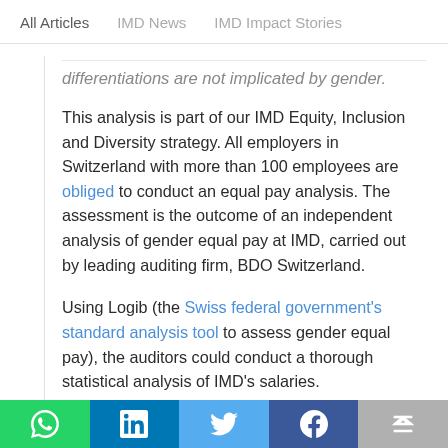All Articles   IMD News   IMD Impact Stories
…differentiations are not implicated by gender.
This analysis is part of our IMD Equity, Inclusion and Diversity strategy. All employers in Switzerland with more than 100 employees are obliged to conduct an equal pay analysis. The assessment is the outcome of an independent analysis of gender equal pay at IMD, carried out by leading auditing firm, BDO Switzerland.
Using Logib (the Swiss federal government's standard analysis tool to assess gender equal pay), the auditors could conduct a thorough statistical analysis of IMD's salaries.
The analysis shows only a 3.3% gender pay gap,
WhatsApp LinkedIn Twitter Facebook Scroll-up